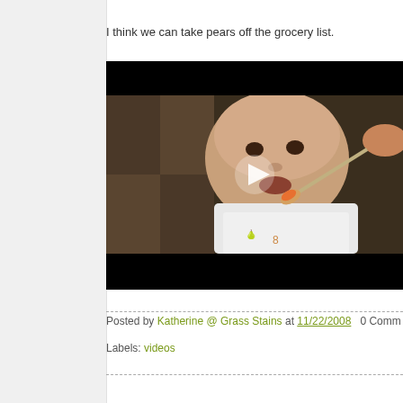I think we can take pears off the grocery list.
[Figure (screenshot): Embedded video player showing a baby being fed with a spoon, with a play button overlay. Video has black bars at top and bottom.]
Posted by Katherine @ Grass Stains at 11/22/2008   0 Comm...
Labels: videos